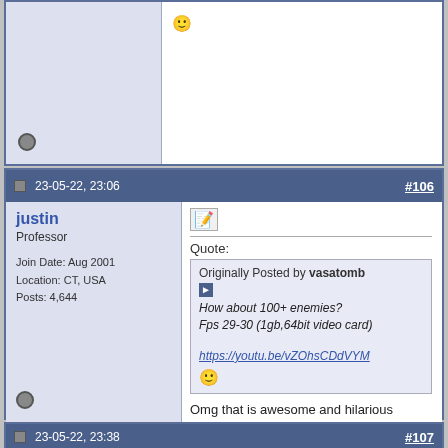[Figure (screenshot): Top partial forum post showing offline icon and smiley face emoji in post content area]
23-05-22, 23:06  #106
justin
Professor
Join Date: Aug 2001
Location: CT, USA
Posts: 4,644
Quote:
Originally Posted by vasatomb
How about 100+ enemies?
Fps 29-30 (1gb,64bit video card)
https://youtu.be/vZOhsCDdVYM
Omg that is awesome and hilarious
Nothing is impossible, just impractical
23-05-22, 23:38  #107